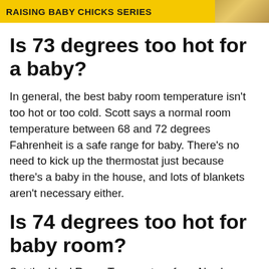RAISING BABY CHICKS SERIES
Is 73 degrees too hot for a baby?
In general, the best baby room temperature isn't too hot or too cold. Scott says a normal room temperature between 68 and 72 degrees Fahrenheit is a safe range for baby. There's no need to kick up the thermostat just because there's a baby in the house, and lots of blankets aren't necessary either.
Is 74 degrees too hot for baby room?
Set the Ideal Room Temperature for a Newborn